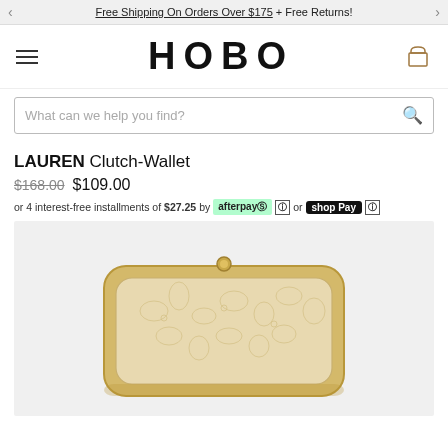Free Shipping On Orders Over $175 + Free Returns!
[Figure (logo): HOBO brand logo in large bold black uppercase letters]
What can we help you find?
LAUREN Clutch-Wallet
$168.00 $109.00
or 4 interest-free installments of $27.25 by afterpay or shop Pay
[Figure (photo): Gold-framed clutch wallet with floral leather pattern, rectangular shape with gold clasp, displayed on light grey background]